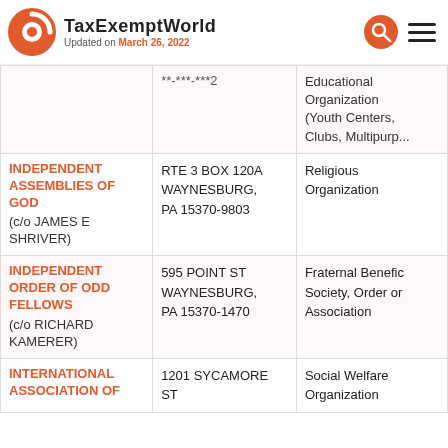TaxExemptWorld — Updated on March 26, 2022
| Organization | Address | Type |
| --- | --- | --- |
|  | **-***-***2 | Educational Organization (Youth Centers, Clubs, Multipurp... |
| INDEPENDENT ASSEMBLIES OF GOD (c/o JAMES E SHRIVER) | RTE 3 BOX 120A WAYNESBURG, PA 15370-9803 | Religious Organization |
| INDEPENDENT ORDER OF ODD FELLOWS (c/o RICHARD KAMERER) | 595 POINT ST WAYNESBURG, PA 15370-1470 | Fraternal Benefic Society, Order or Association |
| INTERNATIONAL ASSOCIATION OF ... | 1201 SYCAMORE ST | Social Welfare Organization |